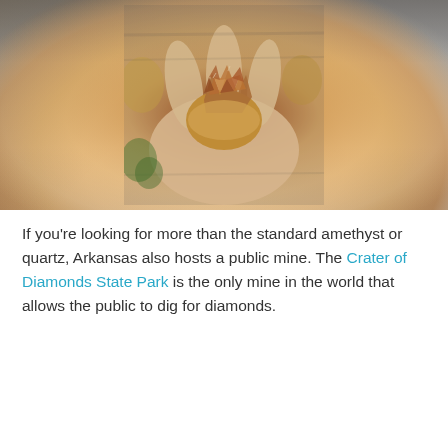[Figure (photo): Close-up photo of a hand holding a rough mineral specimen — a brownish-orange crystal cluster (likely quartz or calcite) sitting on a sandy/yellowish matrix, with blurred rocky background.]
If you're looking for more than the standard amethyst or quartz, Arkansas also hosts a public mine. The Crater of Diamonds State Park is the only mine in the world that allows the public to dig for diamonds.